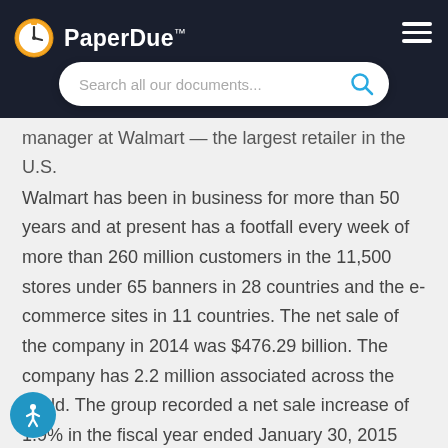PaperDue™
manager at Walmart — the largest retailer in the U.S. Walmart has been in business for more than 50 years and at present has a footfall every week of more than 260 million customers in the 11,500 stores under 65 banners in 28 countries and the e-commerce sites in 11 countries. The net sale of the company in 2014 was $476.29 billion. The company has 2.2 million associated across the world. The group recorded a net sale increase of 1.9% in the fiscal year ended January 30, 2015 and it returned $7.2 billion to shareholders through dividends and share repurchases (Corporate.walmart.com).